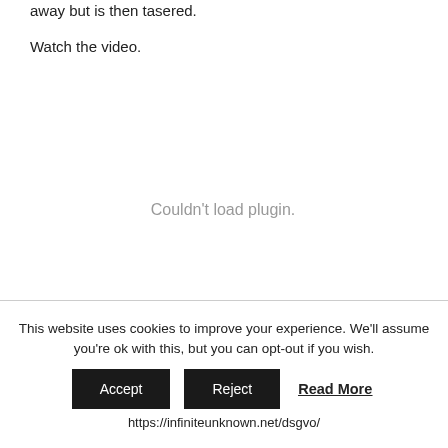away but is then tasered.
Watch the video.
[Figure (other): Plugin area showing 'Couldn't load plugin.' message in gray text]
This website uses cookies to improve your experience. We'll assume you're ok with this, but you can opt-out if you wish.
Accept   Reject   Read More
https://infiniteunknown.net/dsgvo/